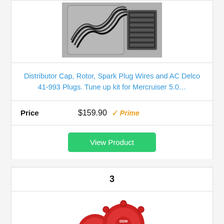[Figure (photo): Spark plug wire set in packaging with wire separator]
Distributor Cap, Rotor, Spark Plug Wires and AC Delco 41-993 Plugs. Tune up kit for Mercruiser 5.0…
Price  $159.90  Prime
View Product
3
[Figure (photo): Red MSD distributor cap and rotor set labeled GSW MSD]